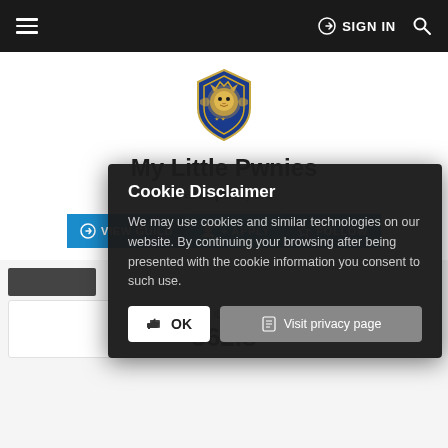≡   ➜ SIGN IN  🔍
[Figure (logo): World of Warcraft Alliance lion crest logo in blue and gold]
My Little Pwnies
Darkspear, EU
VIEW GUILD   + APPLY   ☆ FOLLOW
Cookie Disclaimer

We may use cookies and similar technologies on our website. By continuing your browsing after being presented with the cookie information you consent to such use.

[OK]  [Visit privacy page]
Avg. iLvl (Top 20)
362.8